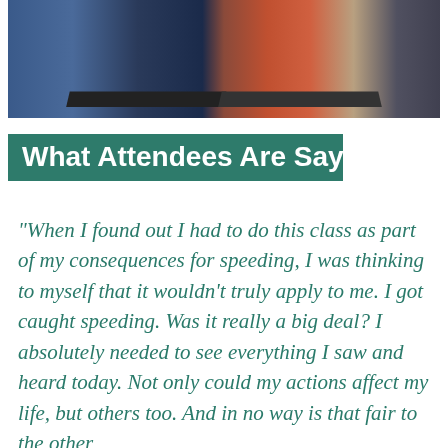[Figure (photo): Photograph of students sitting at desks in a classroom setting, viewed from the side]
What Attendees Are Saying
"When I found out I had to do this class as part of my consequences for speeding, I was thinking to myself that it wouldn't truly apply to me. I got caught speeding. Was it really a big deal? I absolutely needed to see everything I saw and heard today. Not only could my actions affect my life, but others too. And in no way is that fair to the other